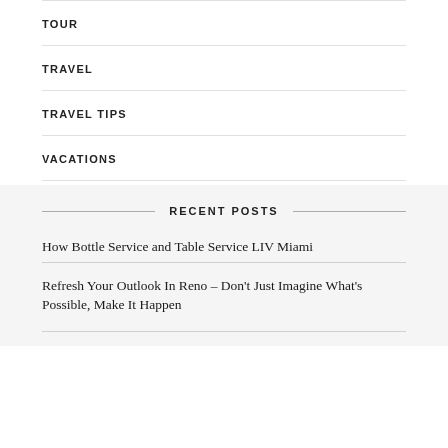TRAVEL
TRAVEL TIPS
VACATIONS
RECENT POSTS
How Bottle Service and Table Service LIV Miami
Refresh Your Outlook In Reno – Don't Just Imagine What's Possible, Make It Happen